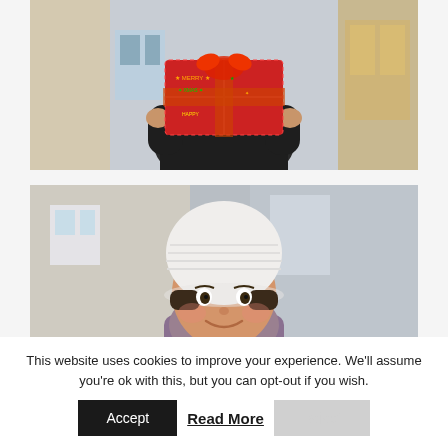[Figure (photo): Person in black jacket holding a large Christmas gift wrapped in red festive paper with colorful holiday decorations, standing outside a building]
[Figure (photo): Young smiling girl wearing a white knit beanie hat and purple/grey winter coat, standing outdoors in front of a building]
This website uses cookies to improve your experience. We'll assume you're ok with this, but you can opt-out if you wish.